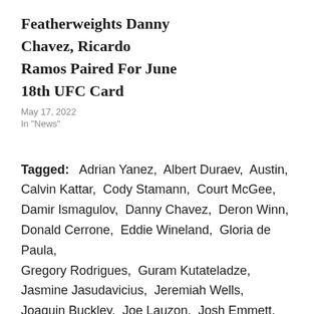Featherweights Danny Chavez, Ricardo Ramos Paired For June 18th UFC Card
May 17, 2022
In "News"
Tagged: Adrian Yanez, Albert Duraev, Austin, Calvin Kattar, Cody Stamann, Court McGee, Damir Ismagulov, Danny Chavez, Deron Winn, Donald Cerrone, Eddie Wineland, Gloria de Paula, Gregory Rodrigues, Guram Kutateladze, Jasmine Jasudavicius, Jeremiah Wells, Joaquin Buckley, Joe Lauzon, Josh Emmett, Julian Marquez, Kevin Holland, Kyle Daukaus, Maria Oliveira, Moody Contor, Natalia Silva,